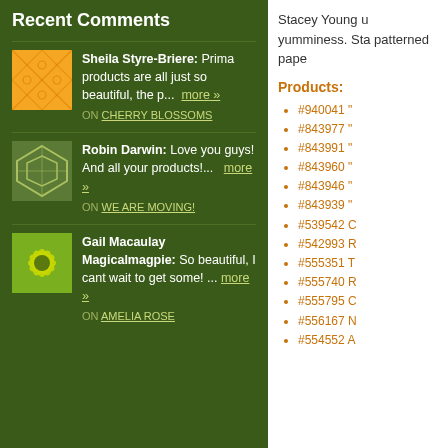Recent Comments
Sheila Styre-Briere: Prima products are all just so beautiful, the p... more »
ON CHERRY BLOSSOMS
Robin Darwin: Love you guys! And all your products!... more »
ON WE ARE MOVING!
Gail Macaulay Magicalmagpie: So beautiful, I cant wait to get some! ... more »
ON AMELIA ROSE
Stacey Young u yumminess. Sta patterned pape
Products:
#940041 "
#843977 "
#843991 "
#843960 "
#843946 "
#843939 "
#539542 C
#542993 R
#555351 T
#555740 R
#555795 C
#556167 N
#554552 A